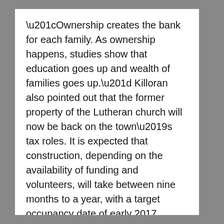“Ownership creates the bank for each family. As ownership happens, studies show that education goes up and wealth of families goes up.” Killoran also pointed out that the former property of the Lutheran church will now be back on the town’s tax roles. It is expected that construction, depending on the availability of funding and volunteers, will take between nine months to a year, with a target occupancy date of early 2017.
In the meantime, three or four days a week the active site is under the watchful eyes of Habitat site supervisors and volunteers as the deconstruction phase winds down in preparation for the rebuilding phase. Killoran speaks of “habititis,” where people of all ages are drawn into helping with everything from